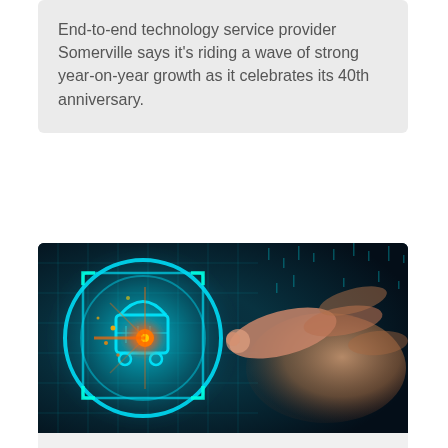End-to-end technology service provider Somerville says it's riding a wave of strong year-on-year growth as it celebrates its 40th anniversary.
[Figure (photo): A human hand reaching toward a glowing teal digital shopping cart icon with orange light sparks on a dark blue/teal background, representing e-commerce technology.]
SAAS
BigCommerce named Challenger for Digital Commerce Platforms